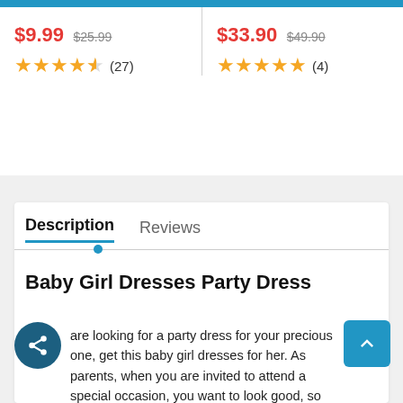$9.99  $25.99
★★★★½ (27)
$33.90  $49.90
★★★★★ (4)
Description | Reviews
Baby Girl Dresses Party Dress
are looking for a party dress for your precious one, get this baby girl dresses for her. As parents, when you are invited to attend a special occasion, you want to look good, so you prepare for it. It's a good thing that you